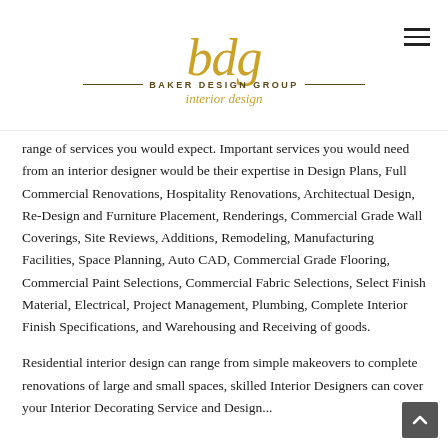Baker Design Group — interior design logo
range of services you would expect. Important services you would need from an interior designer would be their expertise in Design Plans, Full Commercial Renovations, Hospitality Renovations, Architectual Design, Re-Design and Furniture Placement, Renderings, Commercial Grade Wall Coverings, Site Reviews, Additions, Remodeling, Manufacturing Facilities, Space Planning, Auto CAD, Commercial Grade Flooring, Commercial Paint Selections, Commercial Fabric Selections, Select Finish Material, Electrical, Project Management, Plumbing, Complete Interior Finish Specifications, and Warehousing and Receiving of goods.
Residential interior design can range from simple makeovers to complete renovations of large and small spaces, skilled Interior Designers can cover your Interior Decorating Service and Design...